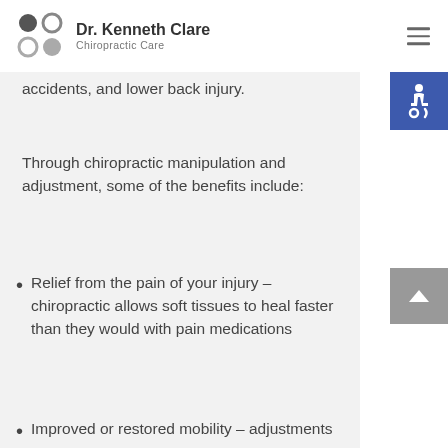Dr. Kenneth Clare Chiropractic Care
accidents, and lower back injury.
Through chiropractic manipulation and adjustment, some of the benefits include:
Relief from the pain of your injury – chiropractic allows soft tissues to heal faster than they would with pain medications
Improved or restored mobility – adjustments can